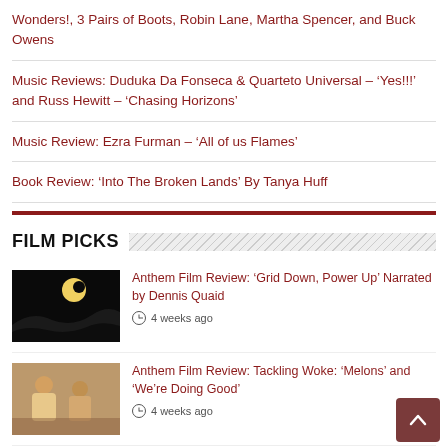Wonders!, 3 Pairs of Boots, Robin Lane, Martha Spencer, and Buck Owens
Music Reviews: Duduka Da Fonseca & Quarteto Universal – 'Yes!!!' and Russ Hewitt – 'Chasing Horizons'
Music Review: Ezra Furman – 'All of us Flames'
Book Review: 'Into The Broken Lands' By Tanya Huff
FILM PICKS
Anthem Film Review: 'Grid Down, Power Up' Narrated by Dennis Quaid
4 weeks ago
Anthem Film Review: Tackling Woke: 'Melons' and 'We're Doing Good'
4 weeks ago
Anthem Film Review: A Tale of Two Communist Cities – Hong Kong and Berlin